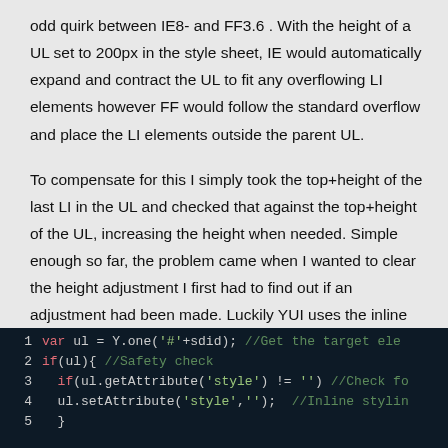odd quirk between IE8- and FF3.6 . With the height of a UL set to 200px in the style sheet, IE would automatically expand and contract the UL to fit any overflowing LI elements however FF would follow the standard overflow and place the LI elements outside the parent UL.
To compensate for this I simply took the top+height of the last LI in the UL and checked that against the top+height of the UL, increasing the height when needed. Simple enough so far, the problem came when I wanted to clear the height adjustment I first had to find out if an adjustment had been made. Luckily YUI uses the inline style to change an elements height so all that was needed was a check on the style attribute and see if it contains anything.
[Figure (screenshot): Code snippet showing JavaScript lines 1-5 on a dark background. Line 1: var ul = Y.one('#'+sdid); //Get the target ele. Line 2: if(ul){ //Safety check. Line 3: if(ul.getAttribute('style') != '') //Check fo. Line 4: ul.setAttribute('style',''); //Inline stylin. Line 5: }]